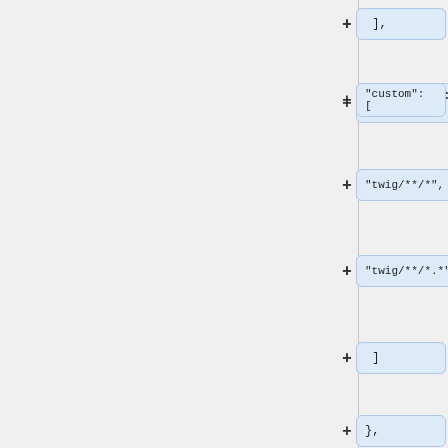],
"custom": [
"twig/**/*",
"twig/**/*.*"
]
},
When copying files in this way, the order used is vendor, core, then custom, so files in core will override files in vendor and files in custom will override files in